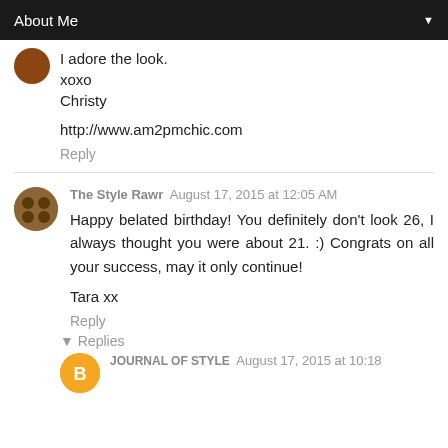About Me
I adore the look.
xoxo
Christy

http://www.am2pmchic.com
Reply
The Style Rawr  August 17, 2015 at 12:05 AM
Happy belated birthday! You definitely don't look 26, I always thought you were about 21. :) Congrats on all your success, may it only continue!

Tara xx
Reply
▾ Replies
JOURNAL OF STYLE  August 17, 2015 at 10:18